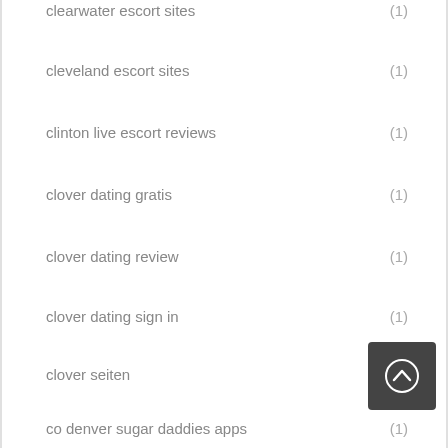clearwater escort sites (1)
cleveland escort sites (1)
clinton live escort reviews (1)
clover dating gratis (1)
clover dating review (1)
clover dating sign in (1)
clover seiten (1)
co denver sugar daddies apps (1)
cofee meet bagel review